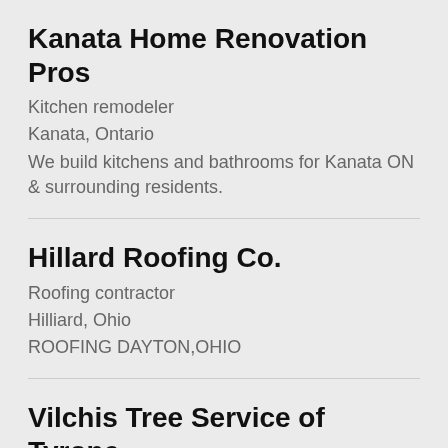Kanata Home Renovation Pros
Kitchen remodeler
Kanata, Ontario
We build kitchens and bathrooms for Kanata ON & surrounding residents.
Hillard Roofing Co.
Roofing contractor
Hilliard, Ohio
ROOFING DAYTON,OHIO
Vilchis Tree Service of Tyrone
Tree service